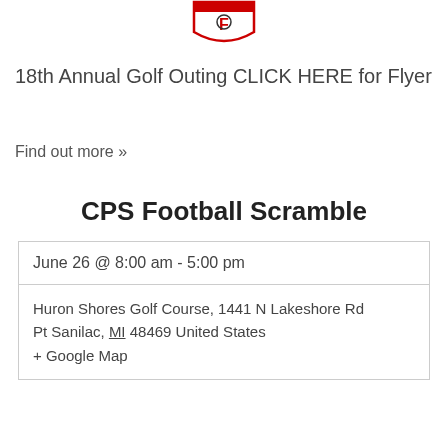[Figure (logo): FOE (Fraternal Order of Eagles) logo at top of page]
18th Annual Golf Outing CLICK HERE for Flyer
Find out more »
CPS Football Scramble
| June 26 @ 8:00 am - 5:00 pm |
| Huron Shores Golf Course, 1441 N Lakeshore Rd
Pt Sanilac, MI 48469 United States
+ Google Map |
[Figure (illustration): CPS Football Scramble panther mascot logo on gold and navy banner background]